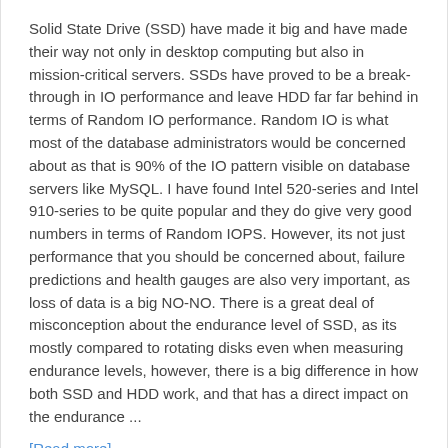Solid State Drive (SSD) have made it big and have made their way not only in desktop computing but also in mission-critical servers. SSDs have proved to be a break-through in IO performance and leave HDD far far behind in terms of Random IO performance. Random IO is what most of the database administrators would be concerned about as that is 90% of the IO pattern visible on database servers like MySQL. I have found Intel 520-series and Intel 910-series to be quite popular and they do give very good numbers in terms of Random IOPS. However, its not just performance that you should be concerned about, failure predictions and health gauges are also very important, as loss of data is a big NO-NO. There is a great deal of misconception about the endurance level of SSD, as its mostly compared to rotating disks even when measuring endurance levels, however, there is a big difference in how both SSD and HDD work, and that has a direct impact on the endurance ...
[Read more]